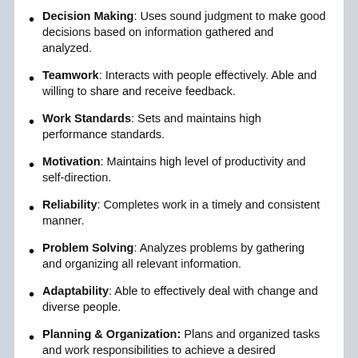Decision Making: Uses sound judgment to make good decisions based on information gathered and analyzed.
Teamwork: Interacts with people effectively. Able and willing to share and receive feedback.
Work Standards: Sets and maintains high performance standards.
Motivation: Maintains high level of productivity and self-direction.
Reliability: Completes work in a timely and consistent manner.
Problem Solving: Analyzes problems by gathering and organizing all relevant information.
Adaptability: Able to effectively deal with change and diverse people.
Planning & Organization: Plans and organized tasks and work responsibilities to achieve a desired outcome.